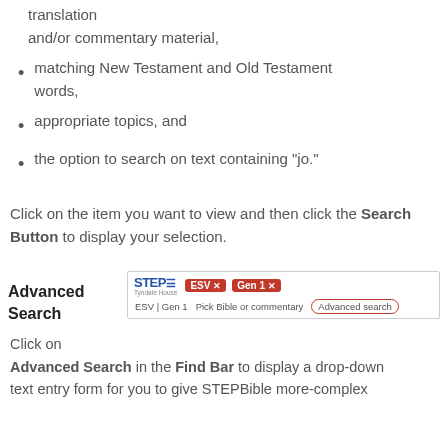translation and/or commentary material,
matching New Testament and Old Testament words,
appropriate topics, and
the option to search on text containing "jo."
Click on the item you want to view and then click the Search Button to display your selection.
Advanced Search
[Figure (screenshot): STEPBible search bar screenshot showing ESV and Gen 1 tags selected, with 'Pick Bible or commentary' and 'Advanced search' options circled in red]
Click on Advanced Search in the Find Bar to display a drop-down text entry form for you to give STEPBible more-complex